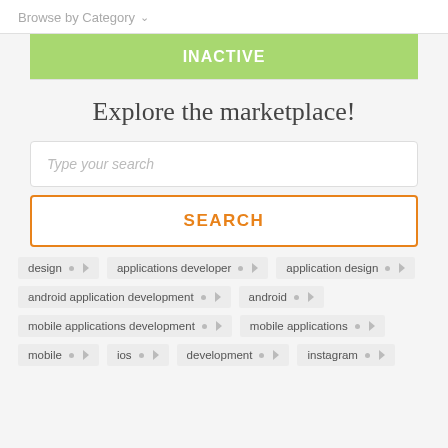Browse by Category ∨
INACTIVE
Explore the marketplace!
Type your search
SEARCH
design
applications developer
application design
android application development
android
mobile applications development
mobile applications
mobile
ios
development
instagram